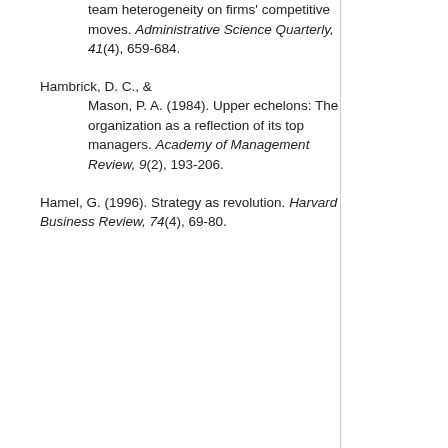team heterogeneity on firms' competitive moves. Administrative Science Quarterly, 41(4), 659-684.
Hambrick, D. C., & Mason, P. A. (1984). Upper echelons: The organization as a reflection of its top managers. Academy of Management Review, 9(2), 193-206.
Hamel, G. (1996). Strategy as revolution. Harvard Business Review, 74(4), 69-80.